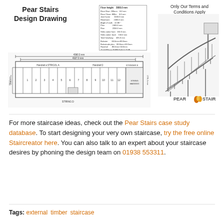[Figure (engineering-diagram): Pear Stairs design drawing showing title 'Pear Stairs Design Drawing', a specification table with dimensions, a plan/elevation drawing of a straight staircase with handrails and string labels, a 3D perspective photo of an external timber staircase, a note 'Only Our Terms and Conditions Apply', and the Pear Stairs logo.]
For more staircase ideas, check out the Pear Stairs case study database. To start designing your very own staircase, try the free online Staircreator here. You can also talk to an expert about your staircase desires by phoning the design team on 01938 553311.
Tags: external  timber  staircase